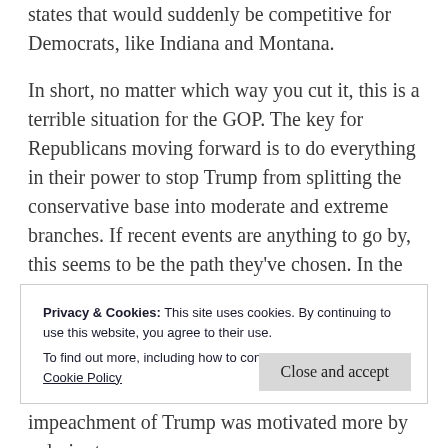states that would suddenly be competitive for Democrats, like Indiana and Montana.
In short, no matter which way you cut it, this is a terrible situation for the GOP. The key for Republicans moving forward is to do everything in their power to stop Trump from splitting the conservative base into moderate and extreme branches. If recent events are anything to go by, this seems to be the path they've chosen. In the recent impeachment trial of Trump, Mitch McConnell and other Republicans backed down from their threats to convict the former president, with only seven Republican senators breaking ranks to vote that Trump was guilty. Though McConnell is reportedly trying to lead his party away from Trump, he seems to be doing so slowly and cautiously,
Privacy & Cookies: This site uses cookies. By continuing to use this website, you agree to their use.
To find out more, including how to control cookies, see here: Cookie Policy
Close and accept
impeachment of Trump was motivated more by a desire to